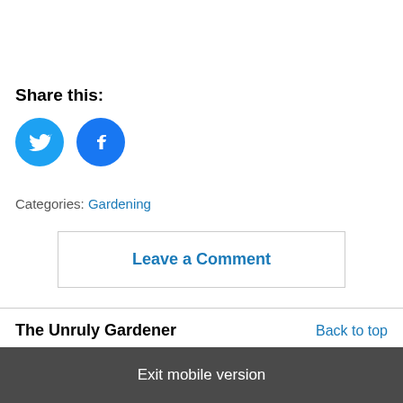Share this:
[Figure (illustration): Two circular social media share buttons: Twitter (blue bird icon) and Facebook (blue f icon)]
Categories: Gardening
Leave a Comment
The Unruly Gardener
Back to top
Exit mobile version